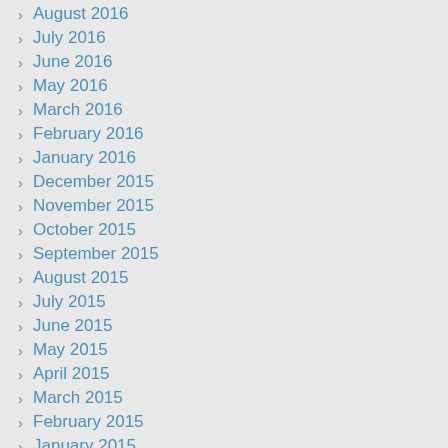August 2016
July 2016
June 2016
May 2016
March 2016
February 2016
January 2016
December 2015
November 2015
October 2015
September 2015
August 2015
July 2015
June 2015
May 2015
April 2015
March 2015
February 2015
January 2015
December 2014